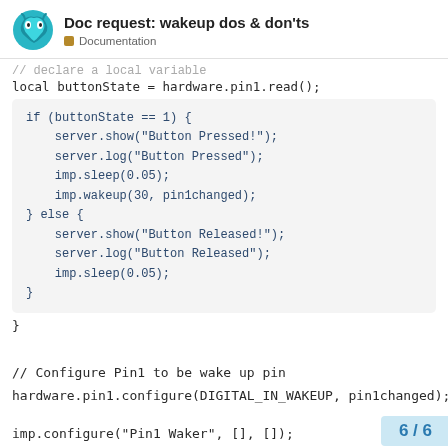Doc request: wakeup dos & don'ts
Documentation
// declare a local variable
local buttonState = hardware.pin1.read();
if (buttonState == 1) {
    server.show("Button Pressed!");
    server.log("Button Pressed");
    imp.sleep(0.05);
    imp.wakeup(30, pin1changed);
} else {
    server.show("Button Released!");
    server.log("Button Released");
    imp.sleep(0.05);
}
}

// Configure Pin1 to be wake up pin
hardware.pin1.configure(DIGITAL_IN_WAKEUP, pin1changed);

imp.configure("Pin1 Waker", [], []);